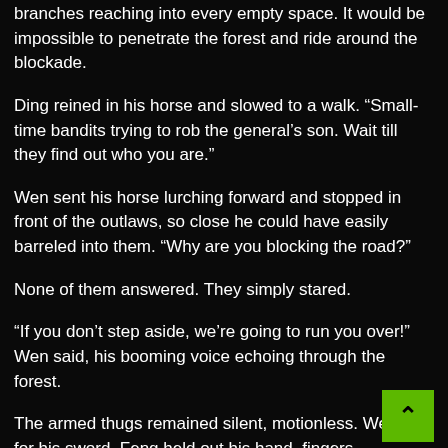branches reaching into every empty space. It would be impossible to penetrate the forest and ride around the blockade.
Ding reined in his horse and slowed to a walk. “Small-time bandits trying to rob the general’s son. Wait till they find out who you are.”
Wen sent his horse lurching forward and stopped in front of the outlaws, so close he could have easily barreled into them. “Why are you blocking the road?”
None of them answered. They simply stared.
“If you don’t step aside, we’re going to run you over!” Wen said, his booming voice echoing through the forest.
The armed thugs remained silent, motionless. Wen re for his sword. Feng held out his hand, fingers outstretched,